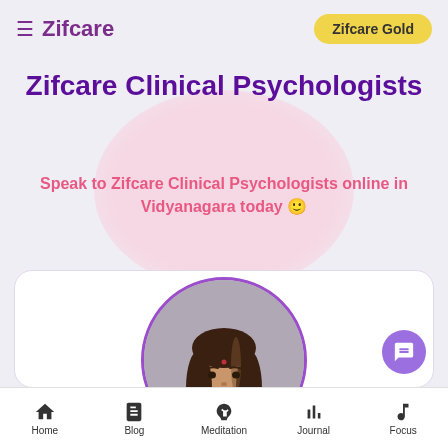Zifcare | Zifcare Gold
Zifcare Clinical Psychologists
Speak to Zifcare Clinical Psychologists online in Vidyanagara today 🙂
[Figure (photo): Profile photo of a female clinical psychologist with long dark hair, smiling, shown in a circular crop against a gray background, inside a white card]
Home | Blog | Meditation | Journal | Focus